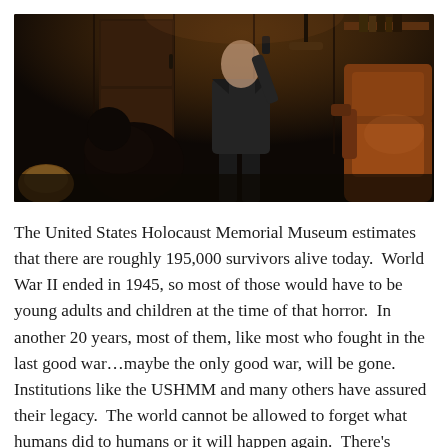[Figure (photo): A dark, dimly lit indoor scene showing two figures — one crouching on the left and one standing in the center wearing a dark suit, appearing to hold something — with a brown leather chair on the right and shelving in the background.]
The United States Holocaust Memorial Museum estimates that there are roughly 195,000 survivors alive today.  World War II ended in 1945, so most of those would have to be young adults and children at the time of that horror.  In another 20 years, most of them, like most who fought in the last good war…maybe the only good war, will be gone.  Institutions like the USHMM and many others have assured their legacy.  The world cannot be allowed to forget what humans did to humans or it will happen again.  There's nothing new that happens in this world; just old plays with different players.  Memory, loss, old age, extinction, and